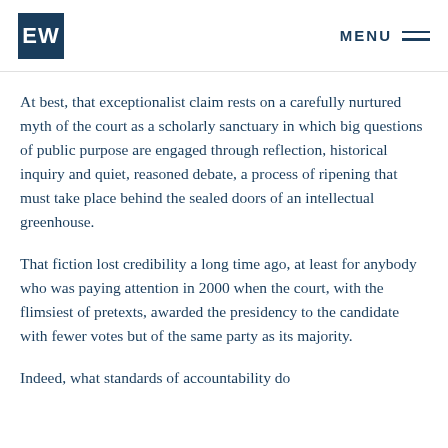EW  MENU
At best, that exceptionalist claim rests on a carefully nurtured myth of the court as a scholarly sanctuary in which big questions of public purpose are engaged through reflection, historical inquiry and quiet, reasoned debate, a process of ripening that must take place behind the sealed doors of an intellectual greenhouse.
That fiction lost credibility a long time ago, at least for anybody who was paying attention in 2000 when the court, with the flimsiest of pretexts, awarded the presidency to the candidate with fewer votes but of the same party as its majority.
Indeed, what standards of accountability do